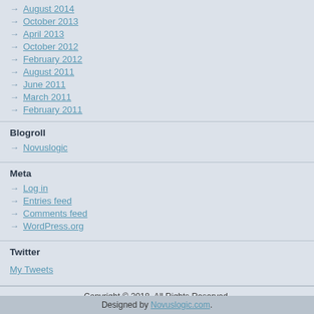August 2014
October 2013
April 2013
October 2012
February 2012
August 2011
June 2011
March 2011
February 2011
Blogroll
Novuslogic
Meta
Log in
Entries feed
Comments feed
WordPress.org
Twitter
My Tweets
Copyright © 2018. All Rights Reserved.
Designed by Novuslogic.com.